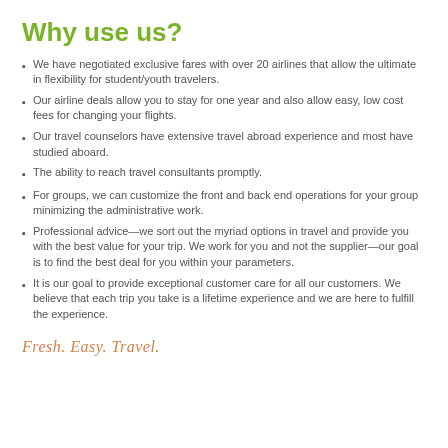Why use us?
We have negotiated exclusive fares with over 20 airlines that allow the ultimate in flexibility for student/youth travelers.
Our airline deals allow you to stay for one year and also allow easy, low cost fees for changing your flights.
Our travel counselors have extensive travel abroad experience and most have studied aboard.
The ability to reach travel consultants promptly.
For groups, we can customize the front and back end operations for your group minimizing the administrative work.
Professional advice—we sort out the myriad options in travel and provide you with the best value for your trip. We work for you and not the supplier—our goal is to find the best deal for you within your parameters.
It is our goal to provide exceptional customer care for all our customers. We believe that each trip you take is a lifetime experience and we are here to fulfill the experience.
Fresh. Easy. Travel.